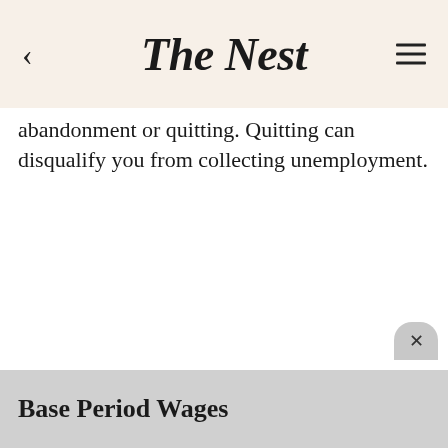The Nest
abandonment or quitting. Quitting can disqualify you from collecting unemployment.
Base Period Wages